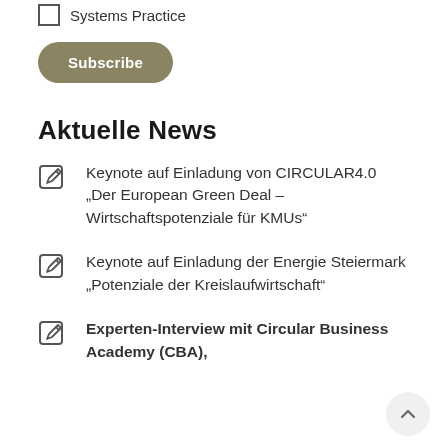Systems Practice
[Figure (other): Subscribe button with olive/khaki rounded pill shape]
Aktuelle News
Keynote auf Einladung von CIRCULAR4.0 „Der European Green Deal – Wirtschaftspotenziale für KMUs“
Keynote auf Einladung der Energie Steiermark „Potenziale der Kreislaufwirtschaft“
Experten-Interview mit Circular Business Academy (CBA), Cham…